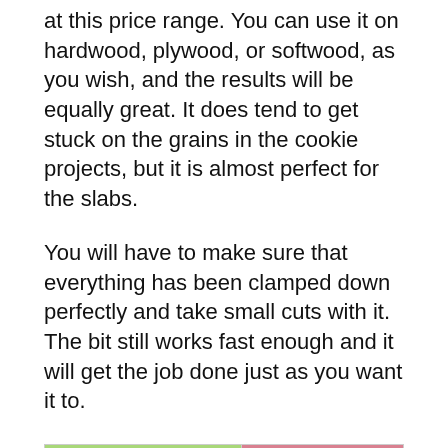at this price range. You can use it on hardwood, plywood, or softwood, as you wish, and the results will be equally great. It does tend to get stuck on the grains in the cookie projects, but it is almost perfect for the slabs.
You will have to make sure that everything has been clamped down perfectly and take small cuts with it. The bit still works fast enough and it will get the job done just as you want it to.
| PROS | CONS |
| --- | --- |
|  |  |